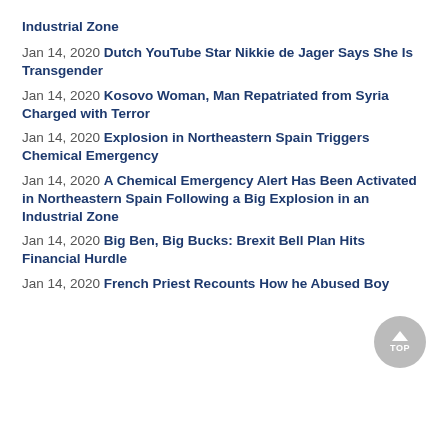Industrial Zone
Jan 14, 2020 Dutch YouTube Star Nikkie de Jager Says She Is Transgender
Jan 14, 2020 Kosovo Woman, Man Repatriated from Syria Charged with Terror
Jan 14, 2020 Explosion in Northeastern Spain Triggers Chemical Emergency
Jan 14, 2020 A Chemical Emergency Alert Has Been Activated in Northeastern Spain Following a Big Explosion in an Industrial Zone
Jan 14, 2020 Big Ben, Big Bucks: Brexit Bell Plan Hits Financial Hurdle
Jan 14, 2020 French Priest Recounts How he Abused Boy